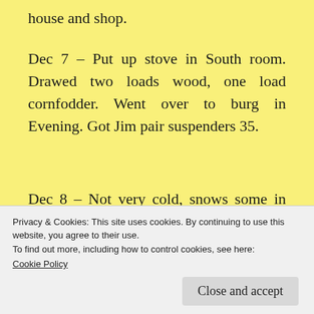house and shop.
Dec 7 – Put up stove in South room. Drawed two loads wood, one load cornfodder. Went over to burg in Evening. Got Jim pair suspenders 35.
Dec 8 – Not very cold, snows some in morning.
Dec 9 – Worked round shop some. Cut out boxboards for cutter. Went over to burg in
Privacy & Cookies: This site uses cookies. By continuing to use this website, you agree to their use.
To find out more, including how to control cookies, see here:
Cookie Policy
Close and accept
Dec 10 – Went over to burg. Carried will over to